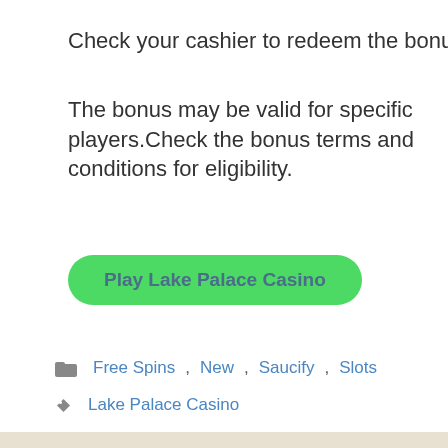Check your cashier to redeem the bonus
The bonus may be valid for specific players.Check the bonus terms and conditions for eligibility.
[Figure (other): Green rounded button labeled 'Play Lake Palace Casino']
Free Spins, New, Saucify, Slots
Lake Palace Casino
[Figure (logo): Silver Oak casino logo — blue shield with spade symbol and 'silver oak' text below]